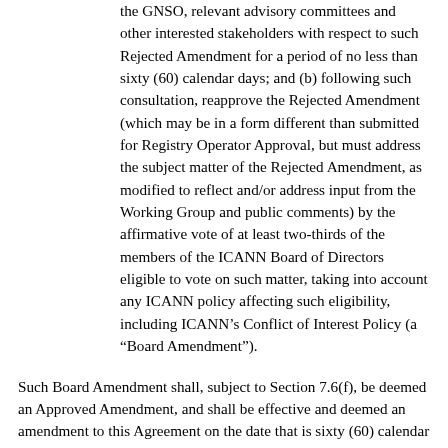the GNSO, relevant advisory committees and other interested stakeholders with respect to such Rejected Amendment for a period of no less than sixty (60) calendar days; and (b) following such consultation, reapprove the Rejected Amendment (which may be in a form different than submitted for Registry Operator Approval, but must address the subject matter of the Rejected Amendment, as modified to reflect and/or address input from the Working Group and public comments) by the affirmative vote of at least two-thirds of the members of the ICANN Board of Directors eligible to vote on such matter, taking into account any ICANN policy affecting such eligibility, including ICANN’s Conflict of Interest Policy (a “Board Amendment”).
Such Board Amendment shall, subject to Section 7.6(f), be deemed an Approved Amendment, and shall be effective and deemed an amendment to this Agreement on the date that is sixty (60) calendar days following the date ICANN provided notice of the approval of such Board Amendment to Registry Operator (which effective date shall be deemed the Amendment Effective Date hereunder). Notwithstanding the foregoing, a Board Amendment may not amend the registry fees charged by ICANN hereunder, or